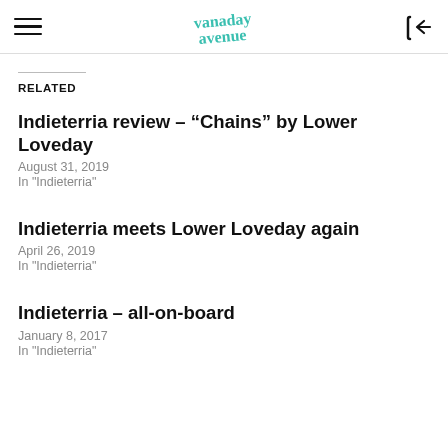Vanaday Avenue (logo/navbar)
RELATED
Indieterria review – “Chains” by Lower Loveday
August 31, 2019
In "Indieterria"
Indieterria meets Lower Loveday again
April 26, 2019
In "Indieterria"
Indieterria – all-on-board
January 8, 2017
In "Indieterria"